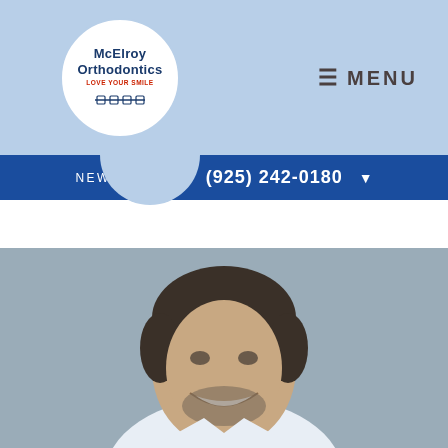[Figure (logo): McElroy Orthodontics logo in a white circle with text 'McElroy Orthodontics', tagline 'Love Your Smile', and dental braces icon]
MENU
NEW PATIENTS  (925) 242-0180
[Figure (photo): Smiling male orthodontist in white coat with short dark hair and beard against a gray background]